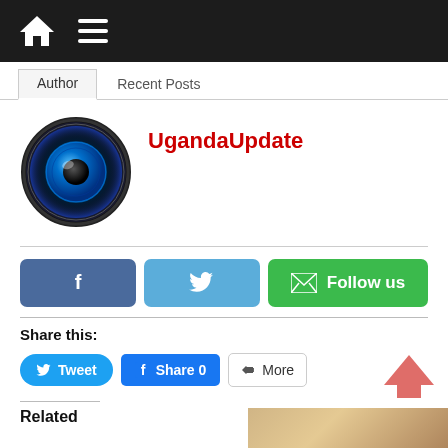Navigation bar with home and menu icons
Author | Recent Posts
[Figure (illustration): Circular avatar image with a blue glowing eye/iris on black background]
UgandaUpdate
[Figure (infographic): Social buttons: Facebook icon button, Twitter icon button, Follow us (email) green button]
Share this:
[Figure (infographic): Share buttons: Tweet (Twitter), Share 0 (Facebook), More]
Related
[Figure (photo): Partial thumbnail image visible at bottom right]